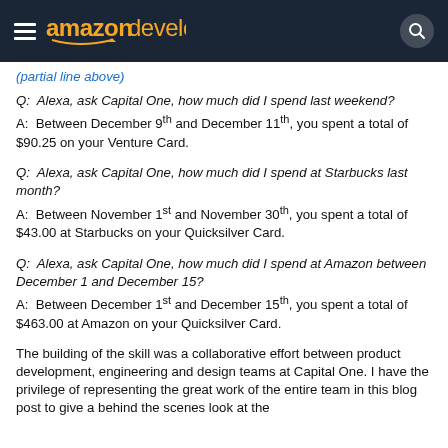amazon developer
Q:  Alexa, ask Capital One, how much did I spend last weekend?
A:  Between December 9th and December 11th, you spent a total of $90.25 on your Venture Card.
Q:  Alexa, ask Capital One, how much did I spend at Starbucks last month?
A:  Between November 1st and November 30th, you spent a total of $43.00 at Starbucks on your Quicksilver Card.
Q:  Alexa, ask Capital One, how much did I spend at Amazon between December 1 and December 15?
A:  Between December 1st and December 15th, you spent a total of $463.00 at Amazon on your Quicksilver Card.
The building of the skill was a collaborative effort between product development, engineering and design teams at Capital One. I have the privilege of representing the great work of the entire team in this blog post to give a behind the scenes look at the